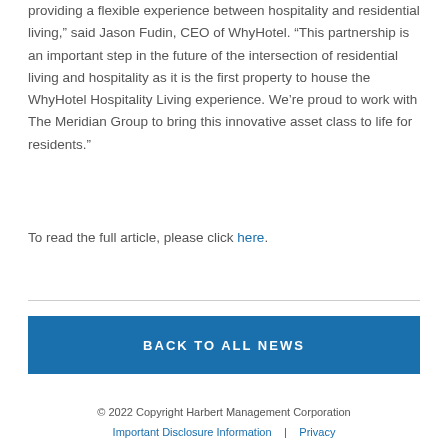providing a flexible experience between hospitality and residential living,” said Jason Fudin, CEO of WhyHotel. “This partnership is an important step in the future of the intersection of residential living and hospitality as it is the first property to house the WhyHotel Hospitality Living experience. We’re proud to work with The Meridian Group to bring this innovative asset class to life for residents.”
To read the full article, please click here.
BACK TO ALL NEWS
© 2022 Copyright Harbert Management Corporation | Important Disclosure Information | Privacy